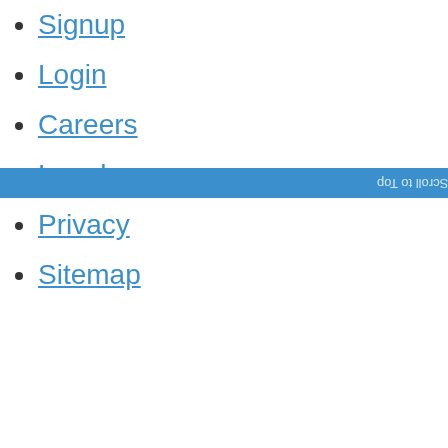Signup
Login
Careers
Legal
Privacy
Sitemap
Scroll to Top